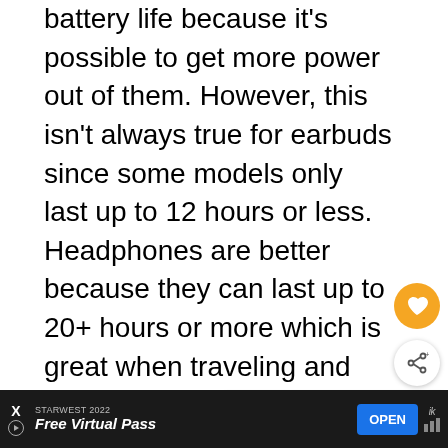battery life because it's possible to get more power out of them. However, this isn't always true for earbuds since some models only last up to 12 hours or less. Headphones are better because they can last up to 20+ hours or more which is great when traveling and not having access to a charger at all times.
High-quality brands will include fast charging capabilities in earbuds though so that if you need to charge
[Figure (screenshot): Heart/favorite button (orange circle with heart icon) and share button (white circle with share icon)]
[Figure (screenshot): What's Next panel showing a thumbnail image and text 'WHAT'S NEXT → Soundbar vs. Speakers -...']
[Figure (screenshot): Advertisement banner at bottom: STARWEST 2022 Free Virtual Pass with OPEN button]